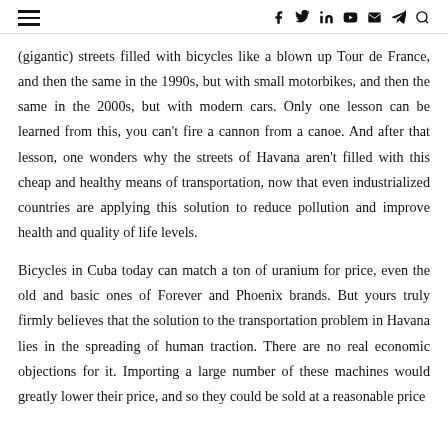≡  f y in ▶ ✉ ⊙ 🔍
(gigantic) streets filled with bicycles like a blown up Tour de France, and then the same in the 1990s, but with small motorbikes, and then the same in the 2000s, but with modern cars. Only one lesson can be learned from this, you can't fire a cannon from a canoe. And after that lesson, one wonders why the streets of Havana aren't filled with this cheap and healthy means of transportation, now that even industrialized countries are applying this solution to reduce pollution and improve health and quality of life levels.
Bicycles in Cuba today can match a ton of uranium for price, even the old and basic ones of Forever and Phoenix brands. But yours truly firmly believes that the solution to the transportation problem in Havana lies in the spreading of human traction. There are no real economic objections for it. Importing a large number of these machines would greatly lower their price, and so they could be sold at a reasonable price